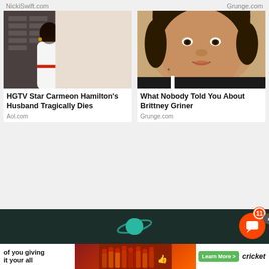NickiSwift.com
Grunge.com
[Figure (photo): Photo of HGTV Star Carmeon Hamilton and her husband smiling together indoors]
HGTV Star Carmeon Hamilton's Husband Tragically Dies
Aol.com
[Figure (photo): Close-up photo of Brittney Griner]
What Nobody Told You About Brittney Griner
Grunge.com
[Figure (screenshot): Advertisement banner featuring dark background with teal planet/Saturn logo]
[Figure (screenshot): Cricket Wireless advertisement with text 'of you giving it your all', Learn More button, and marching band image]